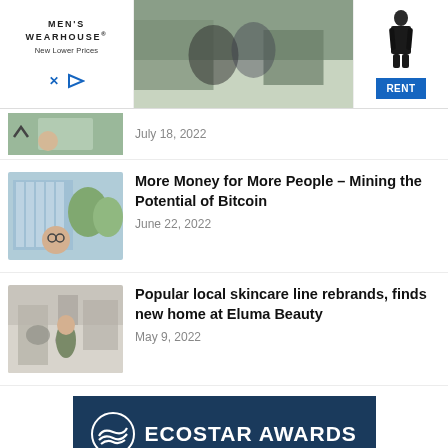[Figure (other): Men's Wearhouse advertisement banner with wedding couple photo and man in suit, with RENT button]
July 18, 2022
[Figure (photo): Thumbnail image of person with glasses in front of glass building]
More Money for More People – Mining the Potential of Bitcoin
June 22, 2022
[Figure (photo): Thumbnail image of woman standing in industrial facility]
Popular local skincare line rebrands, finds new home at Eluma Beauty
May 9, 2022
[Figure (logo): EcoStar Awards logo banner with dark blue background, circular wave logo and text ECOSTAR AWARDS]